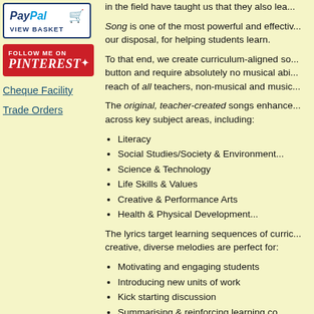[Figure (logo): PayPal View Basket button with shopping cart icon]
[Figure (logo): Follow me on Pinterest button in red]
Cheque Facility
Trade Orders
in the field have taught us that they also lea...
Song is one of the most powerful and effective... our disposal, for helping students learn.
To that end, we create curriculum-aligned so... button and require absolutely no musical abi... reach of all teachers, non-musical and music...
The original, teacher-created songs enhance... across key subject areas, including:
Literacy
Social Studies/Society & Environment
Science & Technology
Life Skills & Values
Creative & Performance Arts
Health & Physical Development...
The lyrics target learning sequences of curric... creative, diverse melodies are perfect for:
Motivating and engaging students
Introducing new units of work
Kick starting discussion
Summarising & reinforcing learning co...
Aiding recall of important information
Extending literacy
Assembly & performance items...